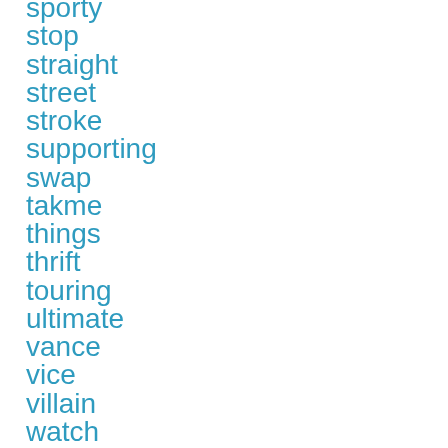sporty
stop
straight
street
stroke
supporting
swap
takme
things
thrift
touring
ultimate
vance
vice
villain
watch
wawa
wildes
witch
word (partial)